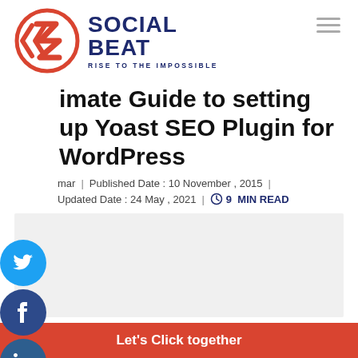[Figure (logo): Social Beat logo: red circle with double chevron arrow, brand name 'SOCIAL BEAT' in dark navy, tagline 'RISE TO THE IMPOSSIBLE']
imate Guide to setting up Yoast SEO Plugin for WordPress
mar | Published Date : 10 November , 2015 | Updated Date : 24 May , 2021 | 9 MIN READ
[Figure (photo): Featured article image placeholder (light gray box)]
Let's Click together